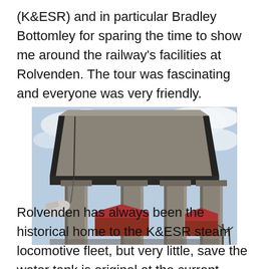(K&ESR) and in particular Bradley Bottomley for sparing the time to show me around the railway's facilities at Rolvenden.  The tour was fascinating and everyone was very friendly.
[Figure (photo): Looking up at a large elevated concrete water tank structure supported by wide concrete pillars, against a partly cloudy sky. A red-roofed building is visible in the background.]
Rolvenden has always been the historical home to the K&ESR steam locomotive fleet, but very little, save the water tank is original at the current works.  In fact the